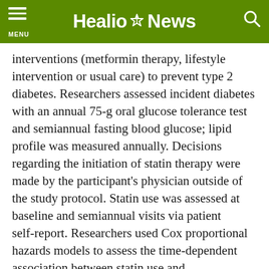Healio News
interventions (metformin therapy, lifestyle intervention or usual care) to prevent type 2 diabetes. Researchers assessed incident diabetes with an annual 75-g oral glucose tolerance test and semiannual fasting blood glucose; lipid profile was measured annually. Decisions regarding the initiation of statin therapy were made by the participant's physician outside of the study protocol. Statin use was assessed at baseline and semiannual visits via patient self-report. Researchers used Cox proportional hazards models to assess the time-dependent association between statin use and diabetes-onset risk.
At 10 years, cumulative incidence of statin initiation